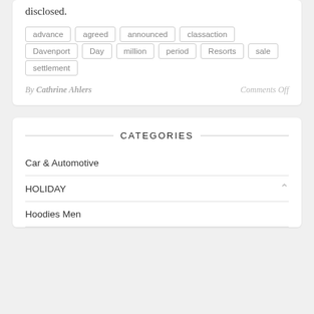disclosed.
advance
agreed
announced
classaction
Davenport
Day
million
period
Resorts
sale
settlement
By Cathrine Ahlers    Comments Off
CATEGORIES
Car & Automotive
HOLIDAY
Hoodies Men